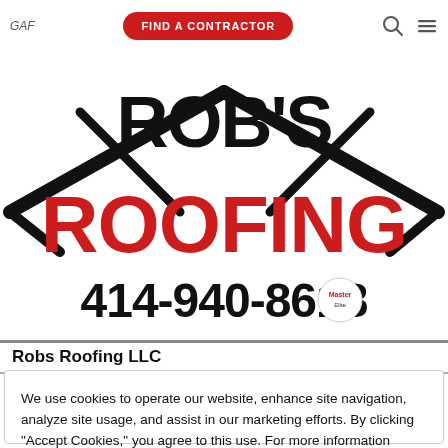GAF | FIND A CONTRACTOR
[Figure (logo): Robs Roofing LLC company logo showing 'ROB S ROOFING' in large red and black text with a roof/chevron graphic, phone number 414-940-8618, and a Master Elite badge overlay]
Robs Roofing LLC
We use cookies to operate our website, enhance site navigation, analyze site usage, and assist in our marketing efforts. By clicking "Accept Cookies," you agree to this use. For more information please visit our Cookie Notice.
Cookie Preferences | Accept Cookies